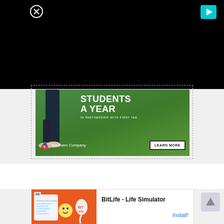[Figure (screenshot): Black video player area at top of screen]
[Figure (screenshot): Southern Company advertisement featuring golf course grass, person walking, text STUDENTS A YEAR IN PARTNERSHIP WITH FIRST TEE, with Southern Company logo and LEARN MORE button]
[Figure (screenshot): BitLife - Life Simulator app advertisement with orange background, emoji and app icon, Install button]